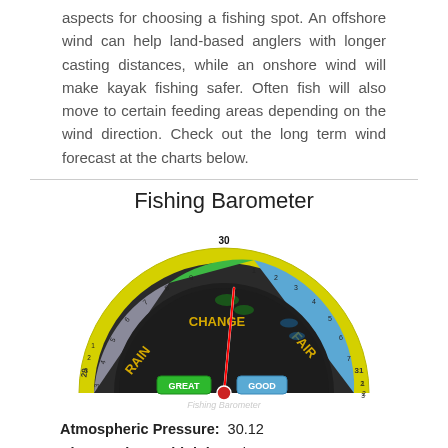aspects for choosing a fishing spot. An offshore wind can help land-based anglers with longer casting distances, while an onshore wind will make kayak fishing safer. Often fish will also move to certain feeding areas depending on the wind direction. Check out the long term wind forecast at the charts below.
Fishing Barometer
[Figure (other): A semicircular fishing barometer gauge with a yellow outer ring showing numbers 3-9, 29-31; inner sections colored gray (Rain), green (Change), and blue (Fair); a red needle pointing slightly right of center; green GREAT button and blue GOOD button at bottom; label 'Fishing Barometer' at base.]
Atmospheric Pressure:  30.12
Change since midnight:  Risen
Trend for next 6 hours:  Falling